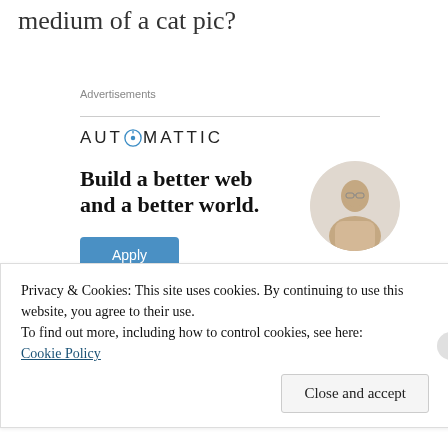medium of a cat pic?
Advertisements
[Figure (other): Automattic advertisement banner with logo, headline 'Build a better web and a better world.', Apply button, and a circular photo of a man]
Privacy & Cookies: This site uses cookies. By continuing to use this website, you agree to their use.
To find out more, including how to control cookies, see here:
Cookie Policy
Close and accept